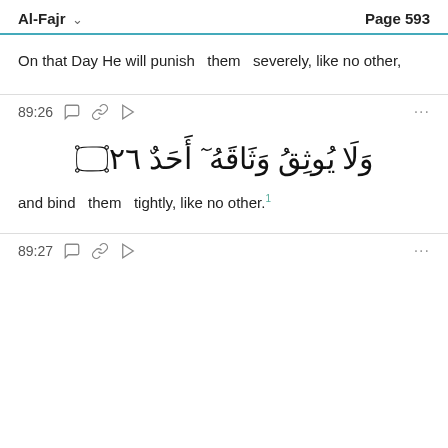Al-Fajr   Page 593
On that Day He will punish   them   severely, like no other,
89:26
[Figure (other): Arabic verse 89:26: وَلَا يُوثِقُ وَثَاقَهُۥٓ أَحَدٌ ۝٢٦]
and bind   them   tightly, like no other.¹
89:27